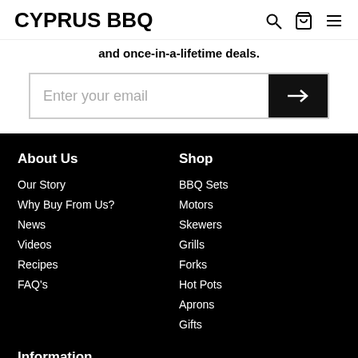CYPRUS BBQ
and once-in-a-lifetime deals.
Enter your email
About Us
Our Story
Why Buy From Us?
News
Videos
Recipes
FAQ's
Shop
BBQ Sets
Motors
Skewers
Grills
Forks
Hot Pots
Aprons
Gifts
Information